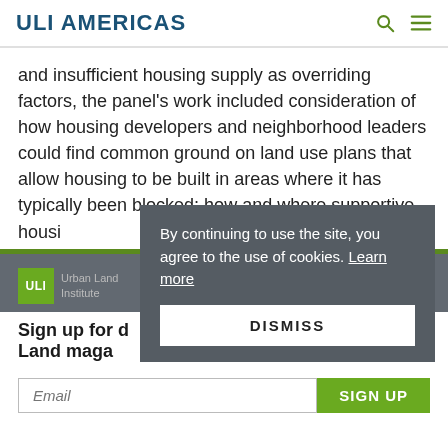ULI AMERICAS
and insufficient housing supply as overriding factors, the panel's work included consideration of how housing developers and neighborhood leaders could find common ground on land use plans that allow housing to be built in areas where it has typically been blocked; how and where supportive housi
[Figure (screenshot): Cookie consent popup overlay with text: 'By continuing to use the site, you agree to the use of cookies. Learn more' and a DISMISS button]
Sign up for d Land maga
Email
SIGN UP